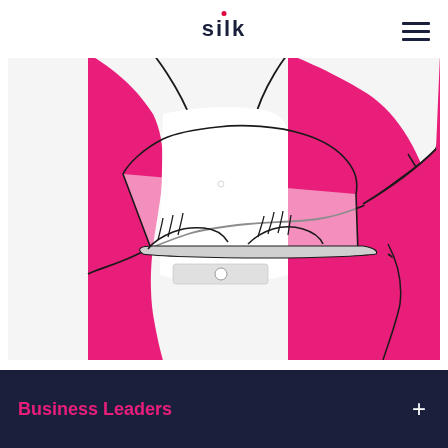silk
[Figure (illustration): Line art illustration of a person wearing a pink/magenta blazer holding a laptop open, drawn in a minimalist style with pink fill and black outlines. Only the torso and hands are visible.]
Business Leaders